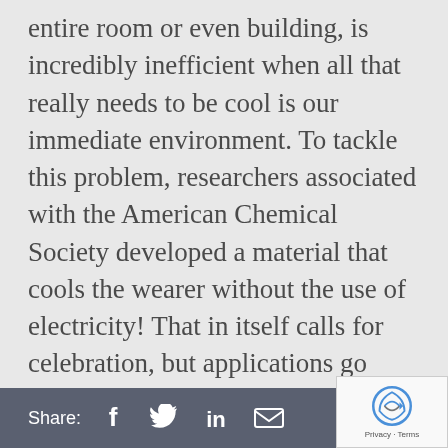entire room or even building, is incredibly inefficient when all that really needs to be cool is our immediate environment. To tackle this problem, researchers associated with the American Chemical Society developed a material that cools the wearer without the use of electricity! That in itself calls for celebration, but applications go beyond human clothing... The team envisions the material's usage for thermal management of electronic devices, for solar energy collection and even for seawater desalination. Keepin' the environment cool, ya'll! Read...
Share: